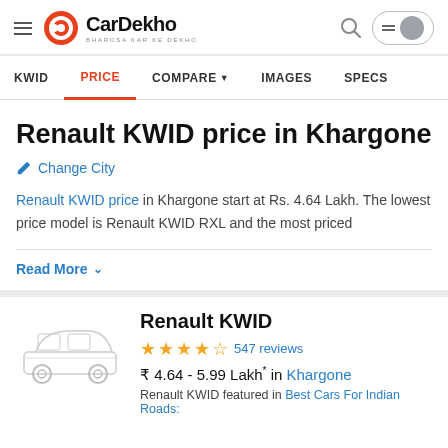CarDekho — BHAROSA KAR KE DEKHO
KWID | PRICE | COMPARE | IMAGES | SPECS
Renault KWID price in Khargone
Change City
Renault KWID price in Khargone start at Rs. 4.64 Lakh. The lowest price model is Renault KWID RXL and the most priced
Read More
Renault KWID
4.5 stars — 547 reviews
₹ 4.64 - 5.99 Lakh* in Khargone
Renault KWID featured in Best Cars For Indian Roads: